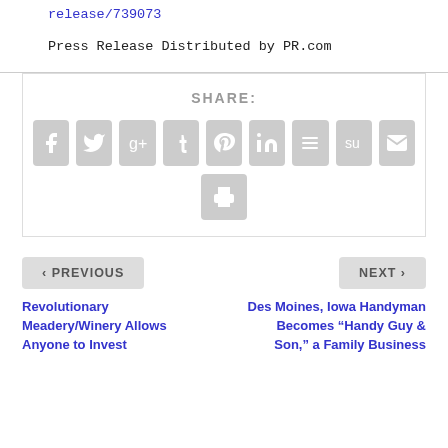release/739073
Press Release Distributed by PR.com
SHARE:
[Figure (infographic): Social share icons: Facebook, Twitter, Google+, Tumblr, Pinterest, LinkedIn, Buffer, StumbleUpon, Email, Print]
< PREVIOUS
NEXT >
Revolutionary Meadery/Winery Allows Anyone to Invest
Des Moines, Iowa Handyman Becomes “Handy Guy & Son,” a Family Business